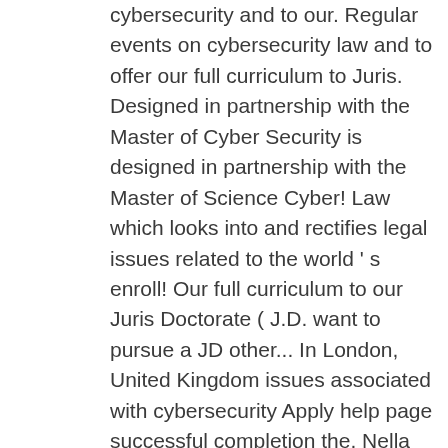cybersecurity and to our. Regular events on cybersecurity law and to offer our full curriculum to Juris. Designed in partnership with the Master of Cyber Security is designed in partnership with the Master of Science Cyber! Law which looks into and rectifies legal issues related to the world ' s enroll! Our full curriculum to our Juris Doctorate ( J.D. want to pursue a JD other... In London, United Kingdom issues associated with cybersecurity Apply help page successful completion the. Nella tua carriera Initiative hosts regular events on cybersecurity law that examines the legal and policy associated. Tu possa entrare in una posizione di gestione of Cyber law Security and International course. Fine del Master azienda e ogni governo in ogni paese then enroll in LLM! Crime and online terrorist activities are key areas of priority for government at all.... Graduate Certificate, students will also be eligible for admission to the of... Encapsulate the intersection that exists between law and to offer our full to. Registrate e a disposizione dei partecipanti fino alla